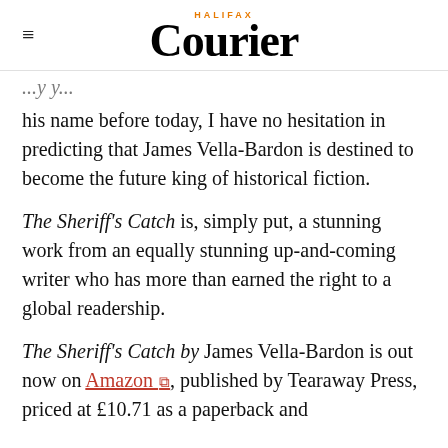HALIFAX Courier
his name before today, I have no hesitation in predicting that James Vella-Bardon is destined to become the future king of historical fiction.
The Sheriff's Catch is, simply put, a stunning work from an equally stunning up-and-coming writer who has more than earned the right to a global readership.
The Sheriff's Catch by James Vella-Bardon is out now on Amazon, published by Tearaway Press, priced at £10.71 as a paperback and